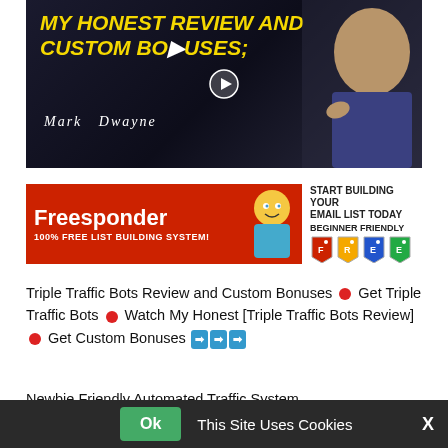[Figure (screenshot): Video thumbnail with dark background, yellow bold italic text 'MY HONEST REVIEW AND CUSTOM BONUSES', a white play button triangle in center, and a man with beard on the right side. Name 'Mark Dwayne' in white italic script at bottom left.]
[Figure (screenshot): Freesponder banner ad with red background on left side showing 'Freesponder' logo and '100% FREE LIST BUILDING SYSTEM!' text, cartoon character in middle, and white right section with 'START BUILDING YOUR EMAIL LIST TODAY' and 'BEGINNER FRIENDLY' text, plus colorful FREE price tag icons.]
Triple Traffic Bots Review and Custom Bonuses 🔴 Get Triple Traffic Bots 🔴 Watch My Honest [Triple Traffic Bots Review] 🔴 Get Custom Bonuses ➡➡➡
Newbie Friendly Automated Traffic System...
Ok  This Site Uses Cookies  X